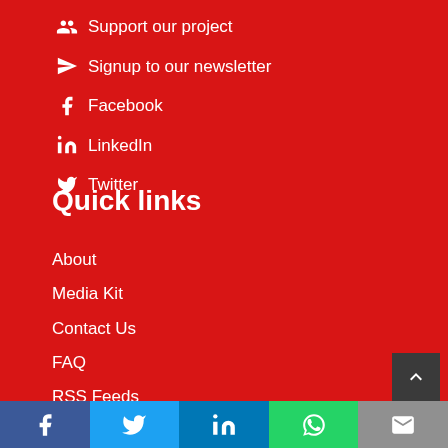Support our project
Signup to our newsletter
Facebook
LinkedIn
Twitter
Quick links
About
Media Kit
Contact Us
FAQ
RSS Feeds
Terms of Service
Privacy Policy